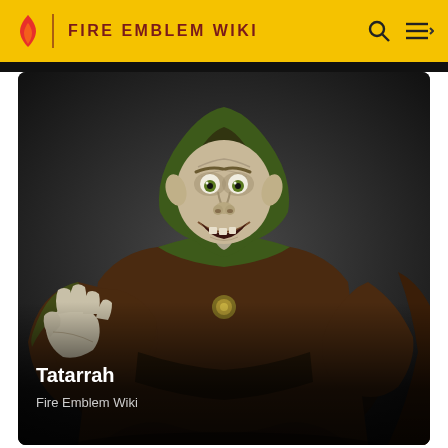FIRE EMBLEM WIKI
[Figure (illustration): Character illustration of Tatarrah from Fire Emblem Wiki — an elderly goblin-like figure in a dark brown and green hooded robe, reaching one hand out with a grin, against a dark background]
Tatarrah
Fire Emblem Wiki
[Figure (illustration): Partial view of a female character with straight dark hair, appearing at the bottom of the page]